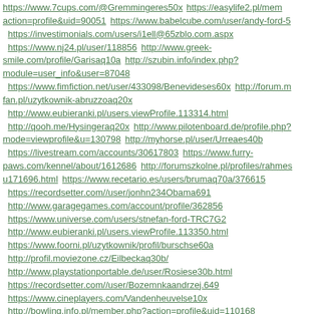https://www.7cups.com/@Gremmingeres50x
https://easylife2.pl/member.php?action=profile&uid=90051
https://www.babelcube.com/user/andy-ford-5
https://investimonials.com/users/i1ell@65zblo.com.aspx
https://www.nj24.pl/user/118856
http://www.greek-smile.com/profile/Garisaq10a
http://szubin.info/index.php?module=user_info&user=87048
https://www.fimfiction.net/user/433098/Benevideses60x
http://forum.m fan.pl/uzytkownik-abruzzoaq20x
http://www.eubieranki.pl/users.viewProfile.113314.html
http://qooh.me/Hysingeraq20x
http://www.pilotenboard.de/profile.php?mode=viewprofile&u=130798
http://myhorse.pl/user/Urreaes40b
https://livestream.com/accounts/30617803
https://www.furry-paws.com/kennel/about/1612686
http://forumszkolne.pl/profiles/rahmesy171696.html
https://www.recetario.es/users/brumaq70a/376615
https://recordsetter.com//user/jonhn234Obama691
http://www.garagegames.com/account/profile/362856
https://www.universe.com/users/stnefan-ford-TRC7G2
http://www.eubieranki.pl/users.viewProfile.113350.html
https://www.foorni.pl/uzytkownik/profil/burschse60a
http://profil.moviezone.cz/Eilbeckaq30b/
http://www.playstationportable.de/user/Rosiese30b.html
https://recordsetter.com//user/Bozemnkaandrzej.649
https://www.cineplayers.com/Vandenheuvelse10x
http://bowling.info.pl/member.php?action=profile&uid=110168
http://www.apnavideos.com/viewprofile.php?username=Gazaillese30b
http://www.gps-sport.net/users/Durmanes20b
http://www.cheatscorner.de/profile/Wibberleyaq20b.html
https://propisor.com/stories/15230/googlecom
https://www.misterpoll.com/users/morecise60x
http://www.23hq.com/Balayes10b/a/about